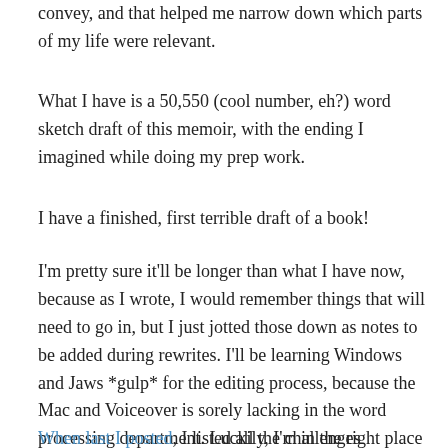convey, and that helped me narrow down which parts of my life were relevant.
What I have is a 50,550 (cool number, eh?) word sketch draft of this memoir, with the ending I imagined while doing my prep work.
I have a finished, first terrible draft of a book!
I'm pretty sure it'll be longer than what I have now, because as I wrote, I would remember things that will need to go in, but I just jotted those down as notes to be added during rewrites. I'll be learning Windows and Jaws *gulp* for the editing process, because the Mac and Voiceover is sorely lacking in the word processing department. Luckily, I'm in the right place with a Windows geek who can help me with that. Pray for him. *wink wink*
When last I posted, I listed all the challenges